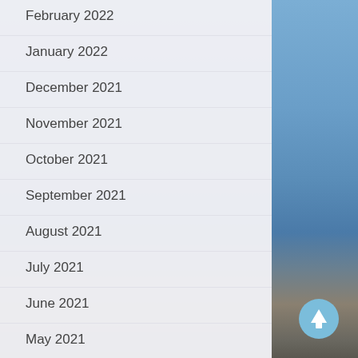February 2022
January 2022
December 2021
November 2021
October 2021
September 2021
August 2021
July 2021
June 2021
May 2021
April 2021
[Figure (illustration): Scroll-to-top button: circular light blue button with white upward arrow]